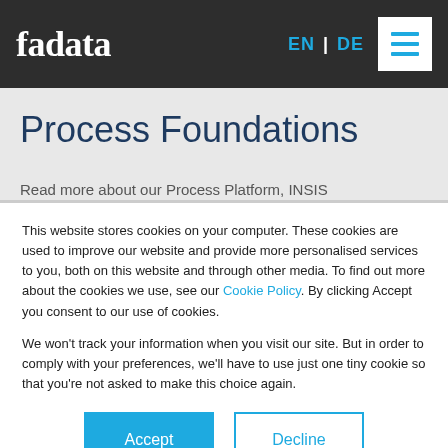fadata   EN | DE
Process Foundations
Read more about our Process Platform, INSIS
This website stores cookies on your computer. These cookies are used to improve our website and provide more personalised services to you, both on this website and through other media. To find out more about the cookies we use, see our Cookie Policy. By clicking Accept you consent to our use of cookies.
We won't track your information when you visit our site. But in order to comply with your preferences, we'll have to use just one tiny cookie so that you're not asked to make this choice again.